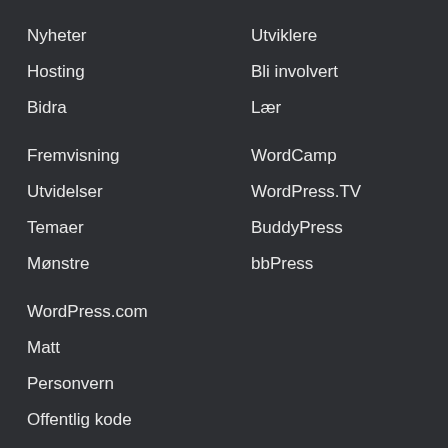Nyheter
Utviklere
Hosting
Bli involvert
Bidra
Lær
Fremvisning
WordCamp
Utvidelser
WordPress.TV
Temaer
BuddyPress
Mønstre
bbPress
WordPress.com
Matt
Personvern
Offentlig kode